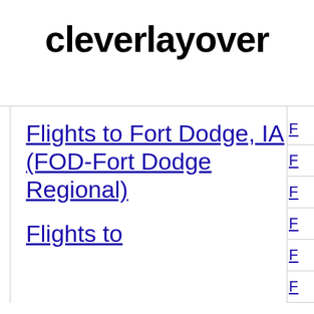cleverlayover
Flights to Fort Dodge, IA (FOD-Fort Dodge Regional)
Flights to